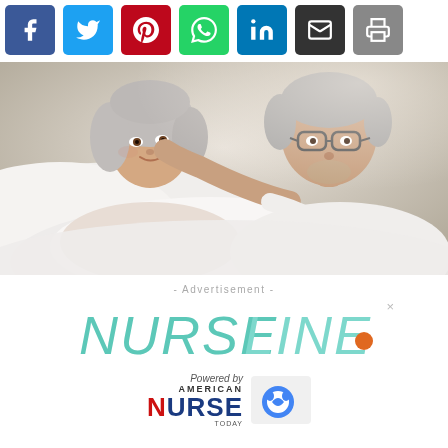[Figure (other): Social sharing buttons row: Facebook (blue), Twitter (light blue), Pinterest (red), WhatsApp (green), LinkedIn (dark blue), Email (dark gray), Print (gray)]
[Figure (photo): Elderly couple lying in bed together, smiling and embracing, white bedding, soft warm light]
- Advertisement -
[Figure (logo): NurseLine logo in teal/mint lettering with a red-to-orange horizontal line and dot, with an X close button in top right]
[Figure (logo): Powered by American Nurse logo in red and dark blue]